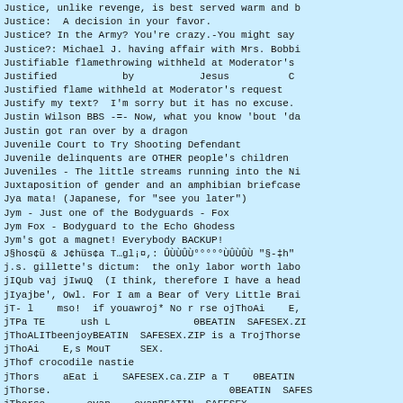Justice, unlike revenge, is best served warm and b
Justice:  A decision in your favor.
Justice? In the Army? You're crazy.-You might say
Justice?: Michael J. having affair with Mrs. Bobbi
Justifiable flamethrowing withheld at Moderator's
Justified           by           Jesus          C
Justified flame withheld at Moderator's request
Justify my text?  I'm sorry but it has no excuse.
Justin Wilson BBS -=- Now, what you know 'bout 'da
Justin got ran over by a dragon
Juvenile Court to Try Shooting Defendant
Juvenile delinquents are OTHER people's children
Juveniles - The little streams running into the Ni
Juxtaposition of gender and an amphibian briefcase
Jya mata! (Japanese, for "see you later")
Jym - Just one of the Bodyguards - Fox
Jym Fox - Bodyguard to the Echo Ghodess
Jym's got a magnet! Everybody BACKUP!
J§hos¢ü & J¢hüs¢a T…gl¡¤,: ÛÙÙÛÙ°°°°°ÙÛÙÛÙ "§-‡h"
j.s. gillette's dictum:  the only labor worth labo
jIQub vaj jIwuQ  (I think, therefore I have a head
jIyajbe', Owl. For I am a Bear of Very Little Brai
jT- l    mso!  if youawroj* No r rse ojThoAi    E,
jTPa TE      ush L              ΘBEATIN  SAFESEX.ZI
jThoALITbeenjoyBEATIN  SAFESEX.ZIP is a TrojThorse
jThoAi    E,s MouT     SEX.
jThof crocodile nastie
jThors    aEat i    SAFESEX.ca.ZIP a T    ΘBEATIN
jThorse.                              ΘBEATIN  SAFES
jThorse.      evan    evanBEATIN  SAFESEX
jTo rYaIlyZscrow upSitAta. s a compu. ojThoAi